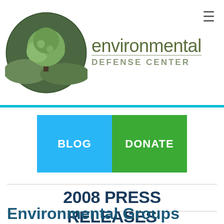Environmental Defense Center
[Figure (logo): Environmental Defense Center logo: circular green emblem with oak tree on green hills, next to text 'environmental DEFENSE CENTER']
BLOG
DONATE
2008 PRESS RELEASES
Environmental Groups